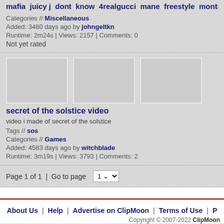mafia juicy j dont know 4realgucci mane freestyle montreal at
Categories // Miscellaneous
Added: 3480 days ago by johngeltkn
Runtime: 2m24s | Views: 2157 | Comments: 0
Not yet rated
[Figure (photo): Three video thumbnail placeholder images]
secret of the solstice video
video i made of secret of the solstice
Tags // sos
Categories // Games
Added: 4583 days ago by witchblade
Runtime: 3m19s | Views: 3793 | Comments: 2
Page 1 of 1  |  Go to page  1
About Us  |  Help  |  Advertise on ClipMoon  |  Terms of Use  |  P
Copyright © 2007-2022 ClipMoon